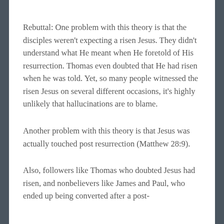Rebuttal: One problem with this theory is that the disciples weren't expecting a risen Jesus. They didn't understand what He meant when He foretold of His resurrection. Thomas even doubted that He had risen when he was told. Yet, so many people witnessed the risen Jesus on several different occasions, it's highly unlikely that hallucinations are to blame.
Another problem with this theory is that Jesus was actually touched post resurrection (Matthew 28:9).
Also, followers like Thomas who doubted Jesus had risen, and nonbelievers like James and Paul, who ended up being converted after a post-